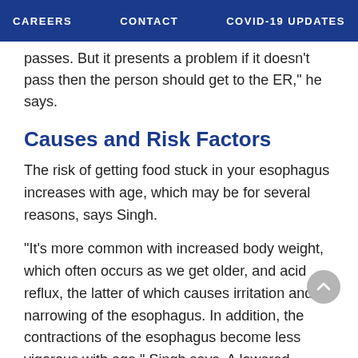CAREERS   CONTACT   COVID-19 UPDATES
passes. But it presents a problem if it doesn't pass then the person should get to the ER," he says.
Causes and Risk Factors
The risk of getting food stuck in your esophagus increases with age, which may be for several reasons, says Singh.
"It's more common with increased body weight, which often occurs as we get older, and acid reflux, the latter of which causes irritation and a narrowing of the esophagus. In addition, the contractions of the esophagus become less vigorous with age," Singh says. A lowered mucus production and some medications could predispose a person to acid reflux (GERD), he adds.